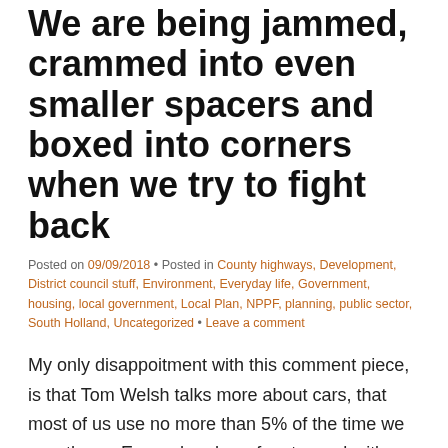We are being jammed, crammed into even smaller spacers and boxed into corners when we try to fight back
Posted on 09/09/2018 • Posted in County highways, Development, District council stuff, Environment, Everyday life, Government, housing, local government, Local Plan, NPPF, planning, public sector, South Holland, Uncategorized • Leave a comment
My only disappoitment with this comment piece, is that Tom Welsh talks more about cars, that most of us use no more than 5% of the time we own them.  Even when he refers to roads, it's about problems fitting the moving cars on to them.
He does however get on to the auwful boxes we